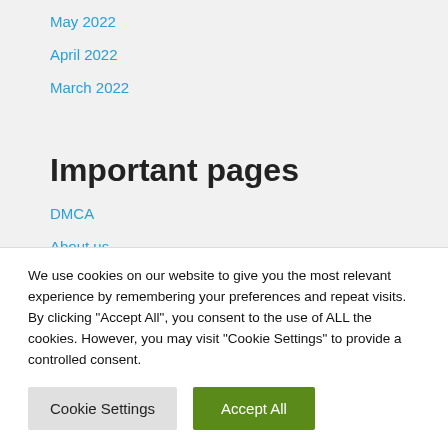May 2022
April 2022
March 2022
Important pages
DMCA
About us
We use cookies on our website to give you the most relevant experience by remembering your preferences and repeat visits. By clicking “Accept All”, you consent to the use of ALL the cookies. However, you may visit "Cookie Settings" to provide a controlled consent.
Cookie Settings   Accept All